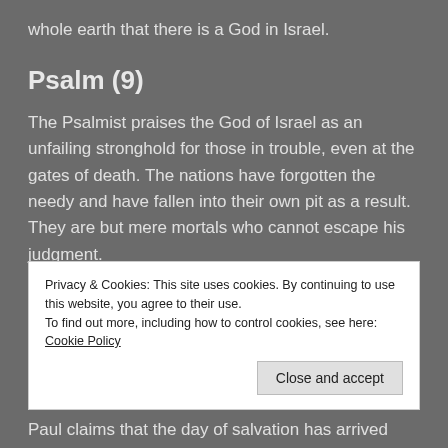whole earth that there is a God in Israel.
Psalm (9)
The Psalmist praises the God of Israel as an unfailing stronghold for those in trouble, even at the gates of death. The nations have forgotten the needy and have fallen into their own pit as a result. They are but mere mortals who cannot escape his judgment.
Second Reading (2 Corinthians 6:1-13)
Privacy & Cookies: This site uses cookies. By continuing to use this website, you agree to their use.
To find out more, including how to control cookies, see here: Cookie Policy
Paul claims that the day of salvation has arrived and